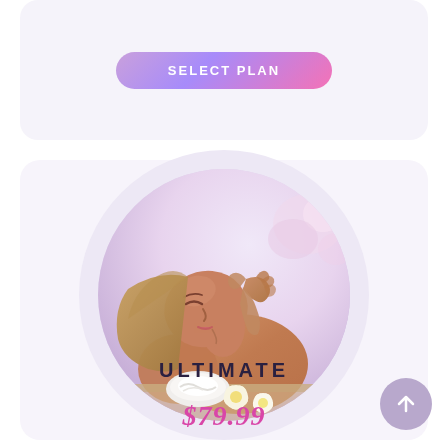SELECT PLAN
[Figure (photo): Circular image of a woman lying down receiving a facial/head massage at a spa, with a rolled white towel and white flowers nearby, soft blurred background]
ULTIMATE
$79.99